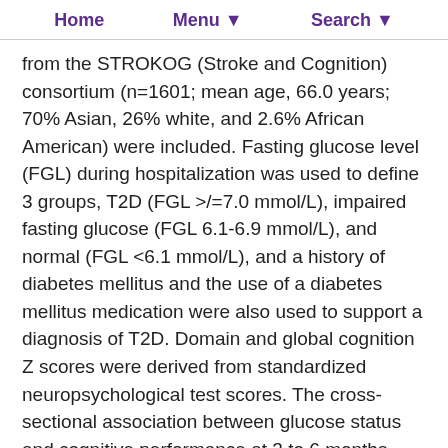Home   Menu ▼   Search ▼
from the STROKOG (Stroke and Cognition) consortium (n=1601; mean age, 66.0 years; 70% Asian, 26% white, and 2.6% African American) were included. Fasting glucose level (FGL) during hospitalization was used to define 3 groups, T2D (FGL >/=7.0 mmol/L), impaired fasting glucose (FGL 6.1-6.9 mmol/L), and normal (FGL <6.1 mmol/L), and a history of diabetes mellitus and the use of a diabetes mellitus medication were also used to support a diagnosis of T2D. Domain and global cognition Z scores were derived from standardized neuropsychological test scores. The cross-sectional association between glucose status and cognitive performance at 3 to 6 months poststroke was examined using linear mixed models, adjusting for